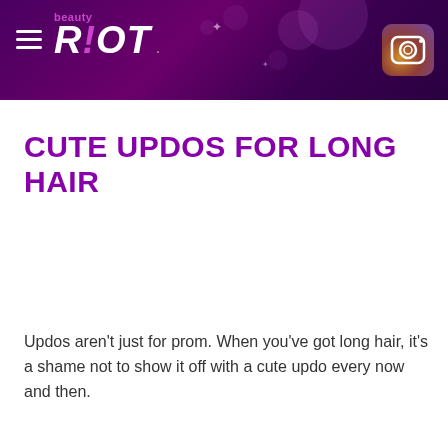beauty RIOT
CUTE UPDOS FOR LONG HAIR
Updos aren’t just for prom. When you’ve got long hair, it’s a shame not to show it off with a cute updo every now and then.